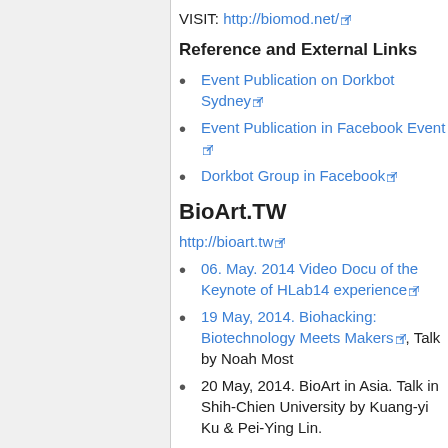VISIT: http://biomod.net/
Reference and External Links
Event Publication on Dorkbot Sydney
Event Publication in Facebook Event
Dorkbot Group in Facebook
BioArt.TW
http://bioart.tw
06. May. 2014 Video Docu of the Keynote of HLab14 experience
19 May, 2014. Biohacking: Biotechnology Meets Makers, Talk by Noah Most
20 May, 2014. BioArt in Asia. Talk in Shih-Chien University by Kuang-yi Ku & Pei-Ying Lin.